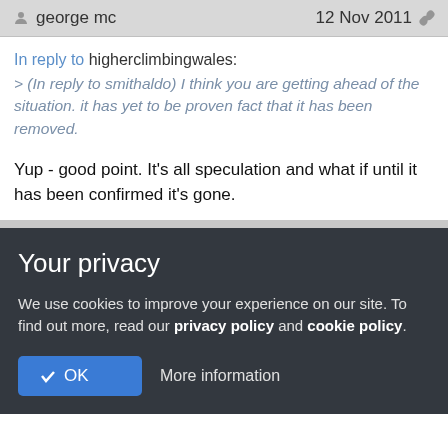george mc   12 Nov 2011
In reply to higherclimbingwales:
> (In reply to smithaldo) I think you are getting ahead of the situation. it has yet to be proven fact that it has been removed.
Yup - good point. It's all speculation and what if until it has been confirmed it's gone.
Your privacy
We use cookies to improve your experience on our site. To find out more, read our privacy policy and cookie policy.
✓ OK   More information